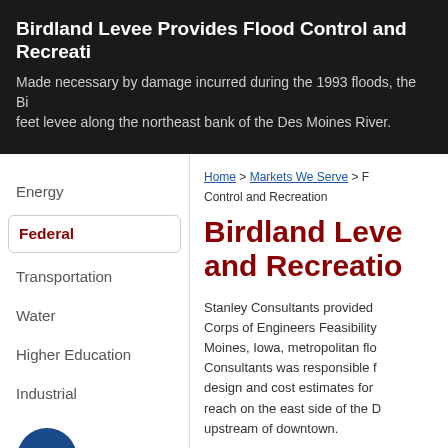Birdland Levee Provides Flood Control and Recreation
Made necessary by damage incurred during the 1993 floods, the Bi... feet levee along the northeast bank of the Des Moines River.
Energy
Federal
Transportation
Water
Higher Education
Industrial
Home > Markets We Serve > ... Control and Recreation
Birdland Levee... and Recreation
Stanley Consultants provided ... Corps of Engineers Feasibility ... Moines, Iowa, metropolitan flo... Consultants was responsible f... design and cost estimates for ... reach on the east side of the D... upstream of downtown.